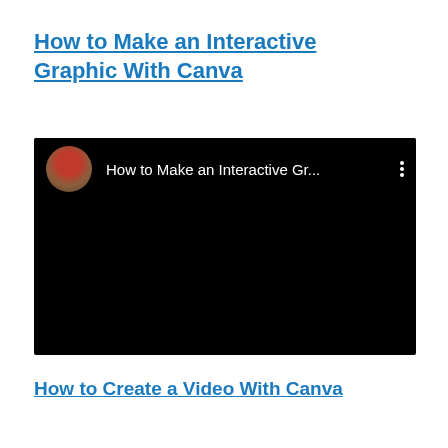How to Make an Interactive Graphic With Canva
[Figure (screenshot): YouTube video embed showing a dark/black video thumbnail with a circular avatar of a person wearing a red beanie hat on the left, the truncated video title 'How to Make an Interactive Gr...' in white text, and a three-dot menu icon on the right.]
How to Create a Video With Canva